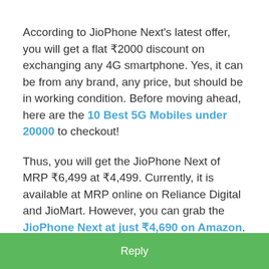According to JioPhone Next's latest offer, you will get a flat ₹2000 discount on exchanging any 4G smartphone. Yes, it can be from any brand, any price, but should be in working condition. Before moving ahead, here are the 10 Best 5G Mobiles under 20000 to checkout!
Thus, you will get the JioPhone Next of MRP ₹6,499 at ₹4,499. Currently, it is available at MRP online on Reliance Digital and JioMart. However, you can grab the JioPhone Next at just ₹4,690 on Amazon. Besides, you can apply exchange offers, bank offers, etc. to save more. Surprisingly, another merchant on Amazon is selling it at ₹5,899 while Gadgets Now price is ₹5,499!
How to Buy JioPhone Next via JioPhone Next
Reply